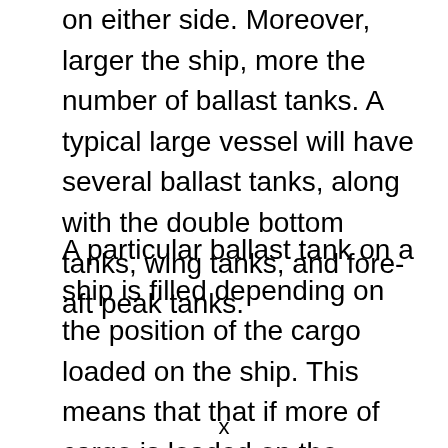on either side. Moreover, larger the ship, more the number of ballast tanks. A typical large vessel will have several ballast tanks, along with the double bottom tanks, wing tanks, and fore-aft peak tanks.
A particular ballast tank on a ship is filled depending on the position of the cargo loaded on the ship. This means that that if more of cargo is loaded on the starboard side than the ort side of the ship, then the port side ballast tanks will be more filled with
x